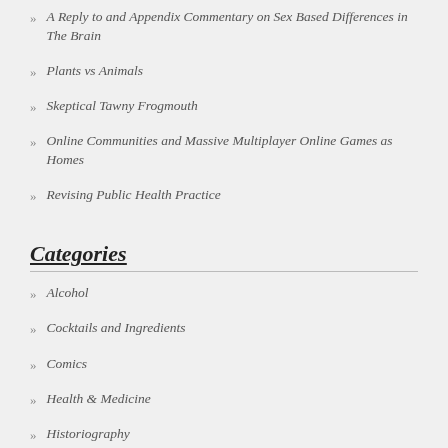A Reply to and Appendix Commentary on Sex Based Differences in The Brain
Plants vs Animals
Skeptical Tawny Frogmouth
Online Communities and Massive Multiplayer Online Games as Homes
Revising Public Health Practice
Categories
Alcohol
Cocktails and Ingredients
Comics
Health & Medicine
Historiography